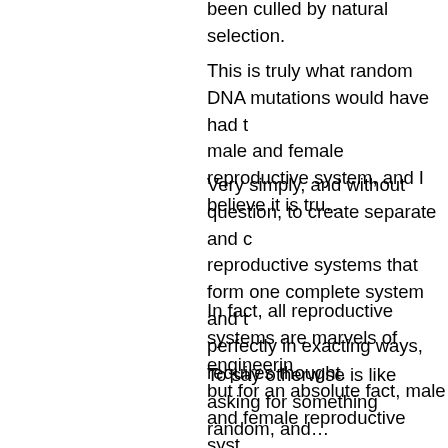been culled by natural selection.
This is truly what random DNA mutations would have had to do to the male and female reproductive system, and I believe it is tru…
Very simply, and without question, to create separate and c… reproductive systems that form one complete system and t… perfectly in exacting ways, requires thought.
In fact, all reproductive systems are marvels of engineering… but for an absolute fact, male and female reproductive syst…
To say otherwise is like asking for something random, and … reason because it is random, to create a lock with a specifi… also randomly at the exact same time, again for absolutely … random, to create a key with a specific configuration, and h… unlock the lock. The only difference of course being that a … reproductive system is significantly more complex compare… must actually do something absolutely incredible – reprod…
To my judgement, it is truly ridiculous to think that somethin… this.
Instead, without question, it has to be purposely designed t… requires thought.
It has to be purposely designed because that is truly the on…